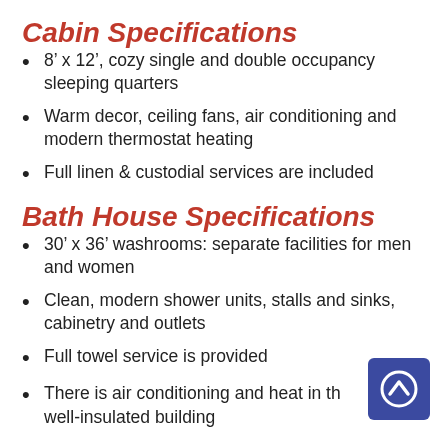Cabin Specifications
8’ x 12’, cozy single and double occupancy sleeping quarters
Warm decor, ceiling fans, air conditioning and modern thermostat heating
Full linen & custodial services are included
Bath House Specifications
30’ x 36’ washrooms: separate facilities for men and women
Clean, modern shower units, stalls and sinks, cabinetry and outlets
Full towel service is provided
There is air conditioning and heat in the well-lit, well-insulated building
[Figure (illustration): Blue square button with upward chevron/arrow icon]